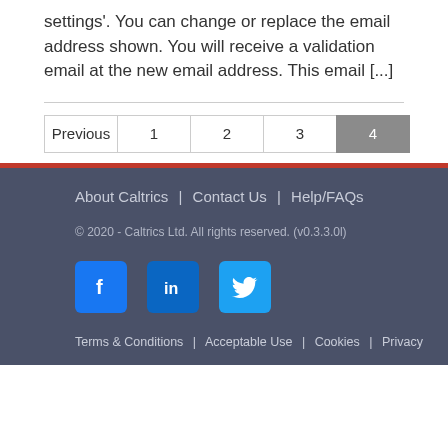settings'. You can change or replace the email address shown. You will receive a validation email at the new email address. This email [...]
About Caltrics | Contact Us | Help/FAQs
© 2020 - Caltrics Ltd. All rights reserved. (v0.3.3.0l)
Terms & Conditions | Acceptable Use | Cookies | Privacy